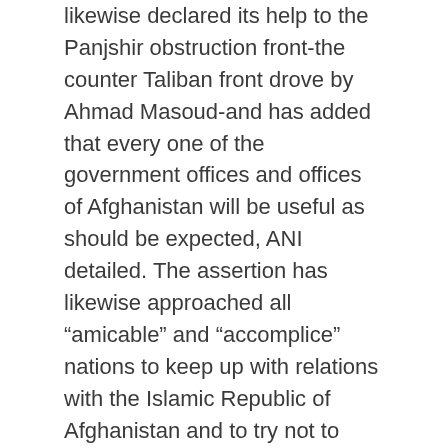likewise declared its help to the Panjshir obstruction front-the counter Taliban front drove by Ahmad Masoud-and has added that every one of the government offices and offices of Afghanistan will be useful as should be expected, ANI detailed. The assertion has likewise approached all “amicable” and “complice” nations to keep up with relations with the Islamic Republic of Afghanistan and to try not to allow authenticity to the Taliban.
Read Also : Aid of $31 million being delivered to Taliban government by China.
Where are Panjshir pioneers? Reports said Amrullah Saleh, Ahmed Massoud have been given assurance in Dushanbe, Tajikistan’s capital. The resistance chiefs are utilizing Dushanbe as their base to design their subsequent stages, reports said.